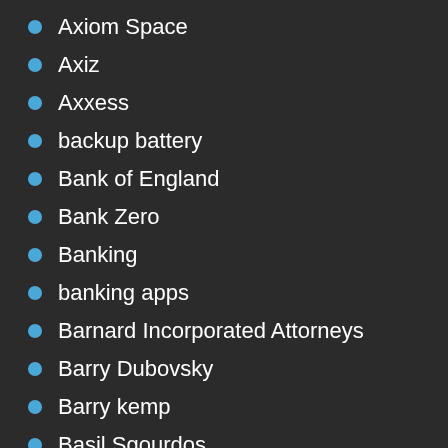Axiom Space
Axiz
Axxess
backup battery
Bank of England
Bank Zero
Banking
banking apps
Barnard Incorporated Attorneys
Barry Dubovsky
Barry kemp
Basil Sgourdos
battery backup
Battery backup systems
BAYC